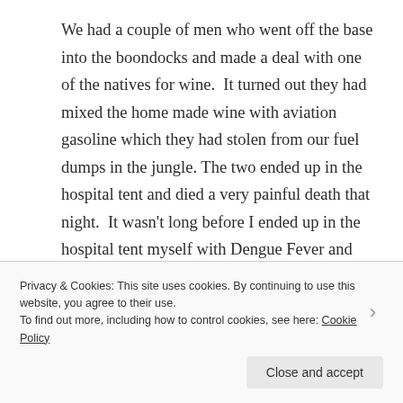We had a couple of men who went off the base into the boondocks and made a deal with one of the natives for wine.  It turned out they had mixed the home made wine with aviation gasoline which they had stolen from our fuel dumps in the jungle.  The two ended up in the hospital tent and died a very painful death that night.  It wasn't long before I ended up in the hospital tent myself with Dengue Fever and they didn't seem to have any medication or treatment other than to let it run its course.  I was quite weak for several
Privacy & Cookies: This site uses cookies. By continuing to use this website, you agree to their use.
To find out more, including how to control cookies, see here: Cookie Policy